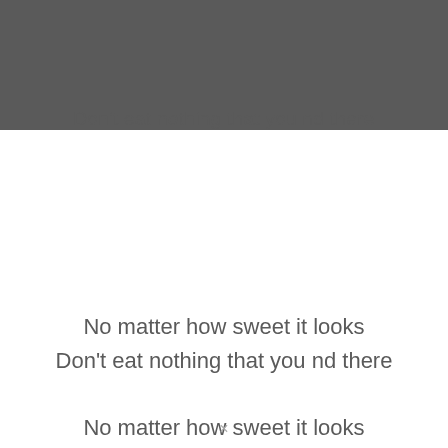[Figure (other): Dark gray header bar background]
Don't eat nothing that you nd there
No matter how sweet it looks
Don't eat nothing that you nd there
No matter how sweet it looks
×